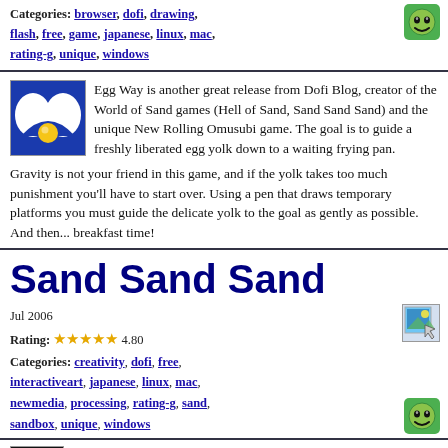Categories: browser, dofi, drawing, flash, free, game, japanese, linux, mac, rating-g, unique, windows
[Figure (illustration): Smiley face emoji icon with green background]
[Figure (illustration): Egg Way game icon: blue background with egg and yolk illustration]
Egg Way is another great release from Dofi Blog, creator of the World of Sand games (Hell of Sand, Sand Sand Sand) and the unique New Rolling Omusubi game. The goal is to guide a freshly liberated egg yolk down to a waiting frying pan. Gravity is not your friend in this game, and if the yolk takes too much punishment you'll have to start over. Using a pen that draws temporary platforms you must guide the delicate yolk to the goal as gently as possible. And then... breakfast time!
Sand Sand Sand
Jul 2006
Rating: ★★★★★ 4.80
Categories: creativity, dofi, free, interactiveart, japanese, linux, mac, newmedia, processing, rating-g, sand, sandbox, unique, windows
[Figure (screenshot): Sand Sand Sand game screenshot thumbnail with cursor icon]
[Figure (illustration): Smiley face emoji icon with green background]
[Figure (screenshot): Sand Sand Sand small game thumbnail, dark/black image]
Sand Sand Sand is another entry in the